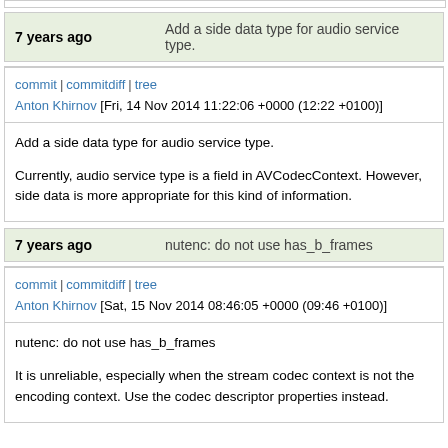7 years ago   Add a side data type for audio service type.
commit | commitdiff | tree
Anton Khirnov [Fri, 14 Nov 2014 11:22:06 +0000 (12:22 +0100)]
Add a side data type for audio service type.

Currently, audio service type is a field in AVCodecContext. However, side data is more appropriate for this kind of information.
7 years ago   nutenc: do not use has_b_frames
commit | commitdiff | tree
Anton Khirnov [Sat, 15 Nov 2014 08:46:05 +0000 (09:46 +0100)]
nutenc: do not use has_b_frames

It is unreliable, especially when the stream codec context is not the encoding context. Use the codec descriptor properties instead.